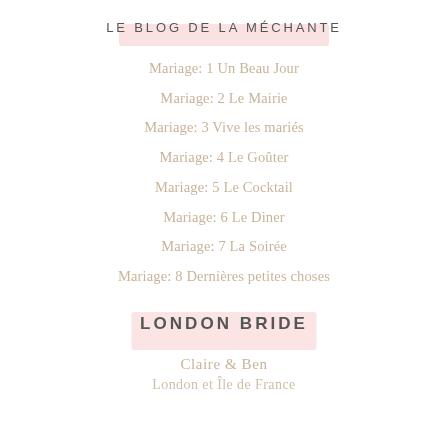LE BLOG DE LA MÉCHANTE
Mariage: 1 Un Beau Jour
Mariage: 2 Le Mairie
Mariage: 3 Vive les mariés
Mariage: 4 Le Goûter
Mariage: 5 Le Cocktail
Mariage: 6 Le Diner
Mariage: 7 La Soirée
Mariage: 8 Dernières petites choses
LONDON BRIDE
Claire & Ben
London et Île de France